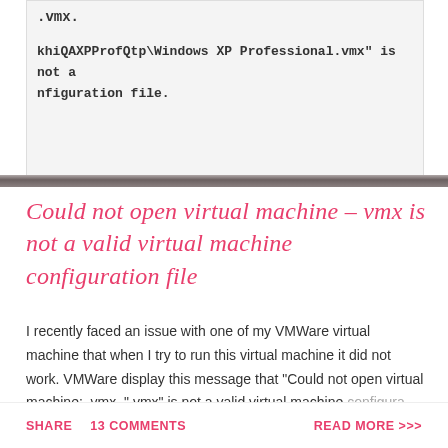[Figure (screenshot): Screenshot of an error dialog or file path showing: .vmx. and khiQAXPProfQtp\Windows XP Professional.vmx" is not a nfiguration file.]
Could not open virtual machine – vmx is not a valid virtual machine configuration file
I recently faced an issue with one of my VMWare virtual machine that when I try to run this virtual machine it did not work. VMWare display this message that "Could not open virtual machine: .vmx. ".vmx" is not a valid virtual machine configura...
SHARE   13 COMMENTS   READ MORE >>>